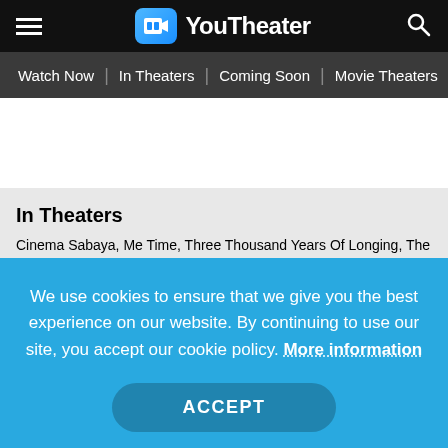YouTheater — navigation header with hamburger menu, logo, and search icon
Watch Now | In Theaters | Coming Soon | Movie Theaters |
[Figure (other): White advertisement/banner area]
In Theaters
Cinema Sabaya, Me Time, Three Thousand Years Of Longing, The Invitation, Rumba La Vie, Tad The Lost Explorer And The Emerald Tablet, Orphan: First Kill, Beast, Dragon Ball Super: SUPER HERO, Day Shift, Pil's Adventure, Prey, Thirteen Lives, Easter Sunday, DC League Of Super Pets, All I Can Do, Fire Of...
We use cookies to ensure that we give you the best experience on our website. By continuing to use our site, you accept our cookie policy. More information
ACCEPT